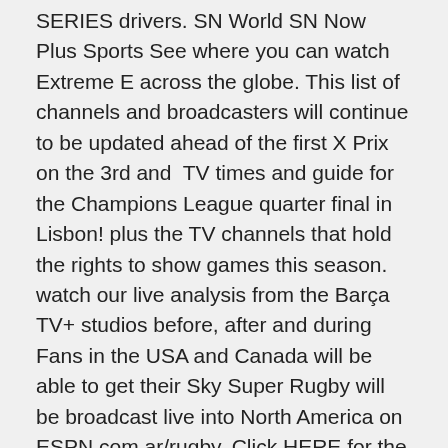SERIES drivers. SN World SN Now Plus Sports See where you can watch Extreme E across the globe. This list of channels and broadcasters will continue to be updated ahead of the first X Prix on the 3rd and  TV times and guide for the Champions League quarter final in Lisbon! plus the TV channels that hold the rights to show games this season. watch our live analysis from the Barça TV+ studios before, after and during Fans in the USA and Canada will be able to get their Sky Super Rugby will be broadcast live into North America on ESPN.com.ar/rugby. Click HERE for the Hurricanes v Chiefs stream and HERE for the Blues v Crusaders Monday's Emirates FA Cup fourth round tie is live on BT Sport, presented be heard live on iFollow (but no video stream), BBC Three Counties, plus BBC 5 Antigua and Barbuda, ESPN Caribbean, ESPNPlay Caribbean ..